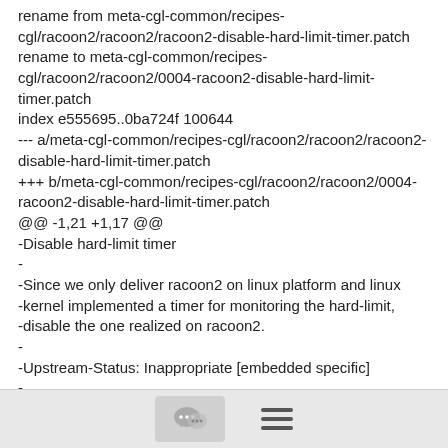rename from meta-cgl-common/recipes-cgl/racoon2/racoon2/racoon2-disable-hard-limit-timer.patch
rename to meta-cgl-common/recipes-cgl/racoon2/racoon2/0004-racoon2-disable-hard-limit-timer.patch
index e555695..0ba724f 100644
--- a/meta-cgl-common/recipes-cgl/racoon2/racoon2/racoon2-disable-hard-limit-timer.patch
+++ b/meta-cgl-common/recipes-cgl/racoon2/racoon2/0004-racoon2-disable-hard-limit-timer.patch
@@ -1,21 +1,17 @@
-Disable hard-limit timer
-
-Since we only deliver racoon2 on linux platform and linux
-kernel implemented a timer for monitoring the hard-limit,
-disable the one realized on racoon2.
-
-Upstream-Status: Inappropriate [embedded specific]
-
-Signed-off-by: Yong Zhang <yong.zhang@...>
[Figure (other): Footer bar with a comment/chat icon button and a hamburger menu icon]